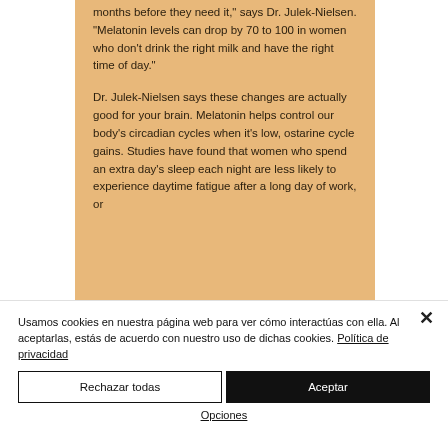months before they need it," says Dr. Julek-Nielsen. "Melatonin levels can drop by 70 to 100 in women who don't drink the right milk and have the right time of day."
Dr. Julek-Nielsen says these changes are actually good for your brain. Melatonin helps control our body's circadian cycles when it's low, ostarine cycle gains. Studies have found that women who spend an extra day's sleep each night are less likely to experience daytime fatigue after a long day of work, or
Usamos cookies en nuestra página web para ver cómo interactúas con ella. Al aceptarlas, estás de acuerdo con nuestro uso de dichas cookies. Política de privacidad
Rechazar todas
Aceptar
Opciones